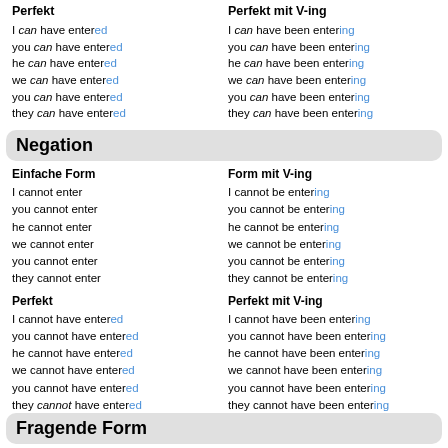Perfekt
Perfekt mit V-ing
I can have entered
I can have been entering
you can have entered
you can have been entering
he can have entered
he can have been entering
we can have entered
we can have been entering
you can have entered
you can have been entering
they can have entered
they can have been entering
Negation
Einfache Form
Form mit V-ing
I cannot enter
I cannot be entering
you cannot enter
you cannot be entering
he cannot enter
he cannot be entering
we cannot enter
we cannot be entering
you cannot enter
you cannot be entering
they cannot enter
they cannot be entering
Perfekt
Perfekt mit V-ing
I cannot have entered
I cannot have been entering
you cannot have entered
you cannot have been entering
he cannot have entered
he cannot have been entering
we cannot have entered
we cannot have been entering
you cannot have entered
you cannot have been entering
they cannot have entered
they cannot have been entering
Fragende Form